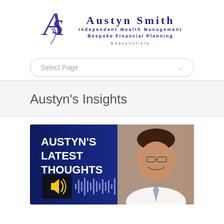[Figure (logo): Austyn Smith Independent Wealth Management Bespoke Financial Planning Beaconsfield logo with stylized AS monogram]
Select Page
Austyn's Insights
[Figure (photo): Promotional banner reading AUSTYN'S LATEST THOUGHTS with audio waveform graphic and speaker icon on left, smiling man with glasses on right against dark blue background]